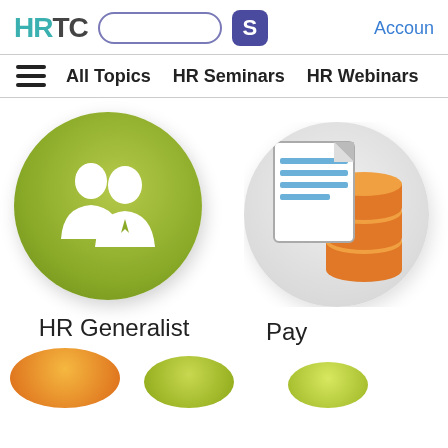HRTC  [search box]  [S button]  Accoun...
All Topics  HR Seminars  HR Webinars
[Figure (illustration): Green circle icon with white silhouette of two people (HR Generalist icon)]
HR Generalist
[Figure (illustration): Gray circle icon with orange coins and a document/page, partially cropped at right edge (Payroll icon)]
Pay
[Figure (illustration): Partial orange and green circles visible at bottom of page]